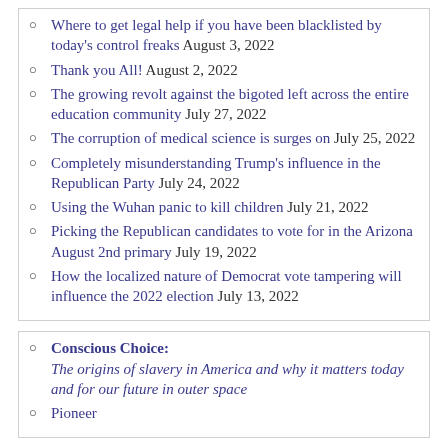Where to get legal help if you have been blacklisted by today's control freaks August 3, 2022
Thank you All! August 2, 2022
The growing revolt against the bigoted left across the entire education community July 27, 2022
The corruption of medical science is surges on July 25, 2022
Completely misunderstanding Trump's influence in the Republican Party July 24, 2022
Using the Wuhan panic to kill children July 21, 2022
Picking the Republican candidates to vote for in the Arizona August 2nd primary July 19, 2022
How the localized nature of Democrat vote tampering will influence the 2022 election July 13, 2022
Conscious Choice: The origins of slavery in America and why it matters today and for our future in outer space
Pioneer